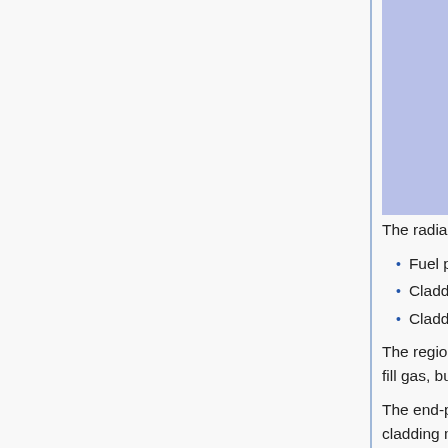[Figure (schematic): Cross-sectional schematic of a nuclear fuel rod assembly showing the active fuel region (gray rectangle in center), cladding (dark gray bands at top and bottom of center), and end-plug/moderator regions (light purple/periwinkle rectangles on sides and top/bottom). The diagram is partially cropped at the top.]
The radial geometry of the active fuel part is as follows:
Fuel pellet outer radius 0.3975 cm.
Cladding inner radius 0.4125 cm.
Cladding outer radius 0.4750 cm.
The region between the fuel pellet and cladding is filled with a fill gas, but can be modelled as void.
The end-plugs below and above the active fuel consist of solid cladding material and have an outer radius equal to the cladding outer radius (0.4750 cm).
Control rod geometry
The control rods move in their guide